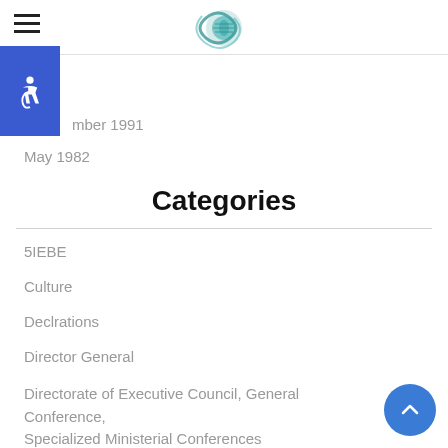Navigation header with hamburger menu and logo
[Figure (logo): Circular globe/world logo with teal swirl design]
mber 1991
May 1982
Categories
5IEBE
Culture
Declrations
Director General
Directorate of Executive Council, General Conference, Specialized Ministerial Conferences